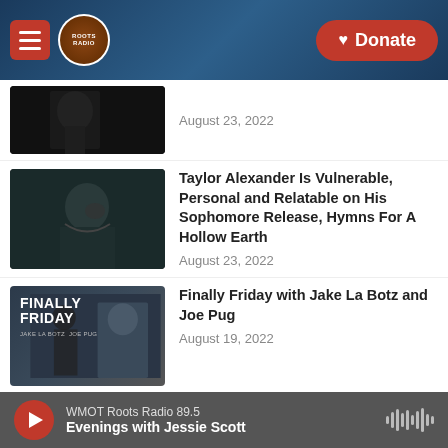Roots Radio — Donate
[Figure (photo): Dark thumbnail of a musician, partial view]
August 23, 2022
[Figure (photo): Taylor Alexander smiling in dark clothing against dark background]
Taylor Alexander Is Vulnerable, Personal and Relatable on His Sophomore Release, Hymns For A Hollow Earth
August 23, 2022
[Figure (photo): Finally Friday show artwork with text FINALLY FRIDAY and Jake La Botz / Joe Pug]
Finally Friday with Jake La Botz and Joe Pug
August 19, 2022
[Figure (photo): Partial dark portrait thumbnail]
Eastern Kentucky Native Tiffany Williams Releases New Album, All
WMOT Roots Radio 89.5 — Evenings with Jessie Scott